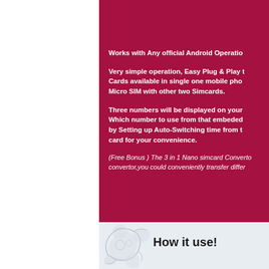Works with Any official Android Operation...
Very simple operation, Easy Plug & Play t... Cards available in single one mobile pho... Micro SIM with other two Simcards.
Three numbers will be displayed on your... Which number to use from that embeded... by Setting up Auto-Switching time from th... card for your convenience.
(Free Bonus ) The 3 in 1 Nano simcard Converto... convertor,you could conveniently transfer differ...
How it use!